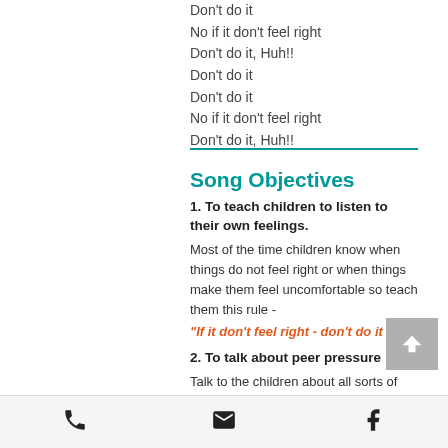Don't do it
No if it don't feel right
Don't do it, Huh!!
Don't do it
Don't do it
No if it don't feel right
Don't do it, Huh!!
Song Objectives
1. To teach children to listen to their own feelings.
Most of the time children know when things do not feel right or when things make them feel uncomfortable so teach them this rule -
"If it don't feel right - don't do it !"
2. To talk about peer pressure
Talk to the children about all sorts of scenarios including peer pressure by their friends at school or at home - they may try to make them do things they know are
[phone] [email] [facebook]